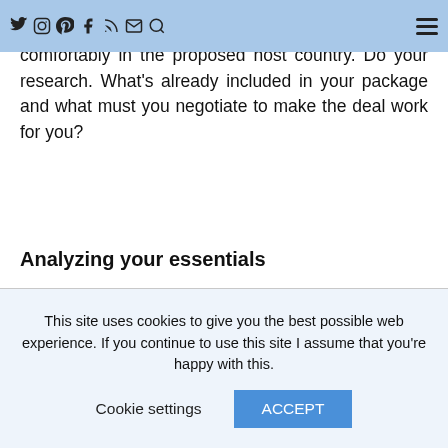[Navigation bar with social icons and menu]
Firstly, ask yourself what you need to live comfortably in the proposed host country. Do your research. What's already included in your package and what must you negotiate to make the deal work for you?
Analyzing your essentials
What level of security will you need? A bullet proof car with a bodyguard, an apartment in a safe area of town, or just a front door? As a foreigner you may stand out more, so you might need to err on the side of caution, especially at the beginning of your expat adventure.
What are the local living costs like? How much does it cost to do an average grocery shop? What are average
This site uses cookies to give you the best possible web experience. If you continue to use this site I assume that you're happy with this.